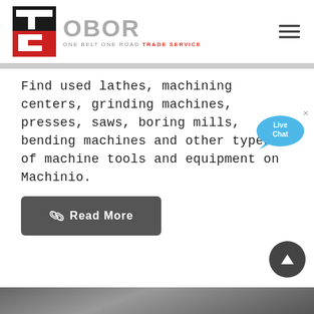[Figure (logo): OBOR Trade Service logo with red/black TS icon and gray OBOR text with tagline 'ONE BELT ONE ROAD TRADE SERVICE']
Find used lathes, machining centers, grinding machines, presses, saws, boring mills, bending machines and other types of machine tools and equipment on Machinio.
[Figure (other): Read More button with chain link icon]
[Figure (photo): Partial photo of industrial machinery at bottom of page]